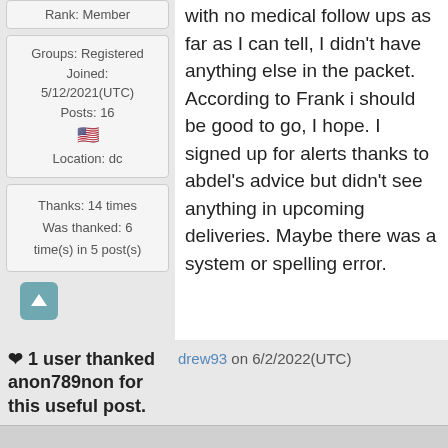Rank: Member
Groups: Registered
Joined: 5/12/2021(UTC)
Posts: 16
🇺🇸
Location: dc
with no medical follow ups as far as I can tell, I didn't have anything else in the packet. According to Frank i should be good to go, I hope. I signed up for alerts thanks to abdel's advice but didn't see anything in upcoming deliveries. Maybe there was a system or spelling error.
Thanks: 14 times
Was thanked: 6 time(s) in 5 post(s)
↑
❤ 1 user thanked anon789non for this useful post.
drew93 on 6/2/2022(UTC)